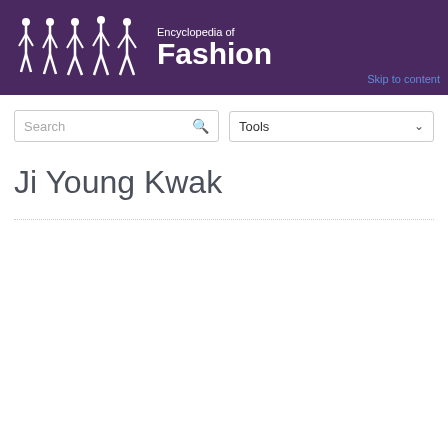Encyclopedia of Fashion
Skip to content
Search
Tools
Ji Young Kwak